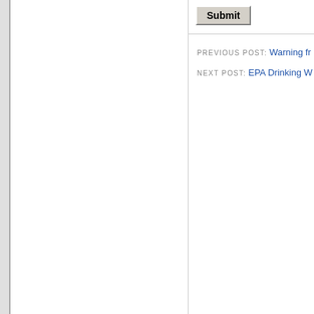[Figure (screenshot): Submit button rendered in classic Windows/web style with gray raised border]
PREVIOUS POST: Warning fr…
NEXT POST: EPA Drinking W…